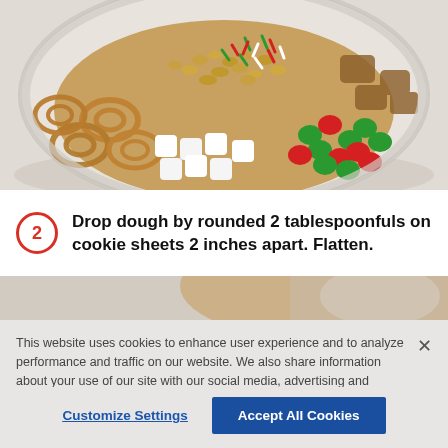[Figure (photo): A glass mixing bowl filled with cookie dough ingredients including pretzels, peanuts, mini marshmallows, red and green M&M candies, and red/green sprinkles on top, viewed from above against a light gray background.]
2  Drop dough by rounded 2 tablespoonfuls on cookie sheets 2 inches apart. Flatten.
[Figure (photo): Partial view of the same mixing bowl with cookie ingredients, cropped at right side, showing a strip at the top of the lower section.]
This website uses cookies to enhance user experience and to analyze performance and traffic on our website. We also share information about your use of our site with our social media, advertising and analytics partners.  Link to Cookie Policy
Customize Settings    Accept All Cookies